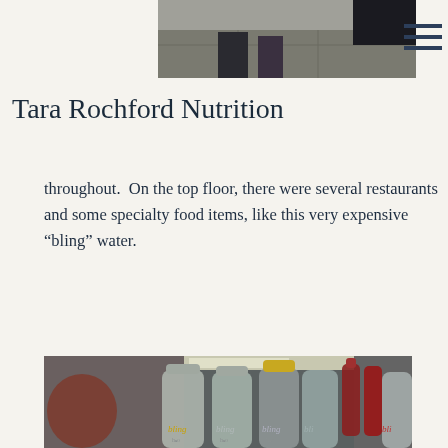[Figure (photo): Top portion of a photo showing tiled floor and person's legs/feet in dark clothing]
Tara Rochford Nutrition
throughout.  On the top floor, there were several restaurants and some specialty food items, like this very expensive “bling” water.
[Figure (photo): Photo of several frosted glass bottles of 'bling' water arranged on a store shelf, with a price tag visible in the background reading 500.00. A person's head is partially visible on the left side.]